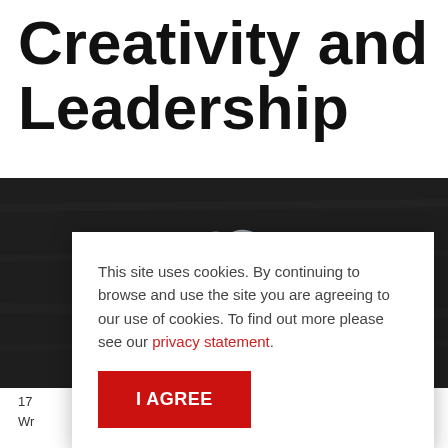Creativity and Leadership
[Figure (photo): Dark chalkboard background with chalk-drawn cloud shapes around the word INNOVATION written in teal/light blue chalk lettering]
This site uses cookies. By continuing to browse and use the site you are agreeing to our use of cookies. To find out more please see our privacy statement.
I AGREE
17 ...
Wr...
Th... ab... University to launch their scholarship competition.